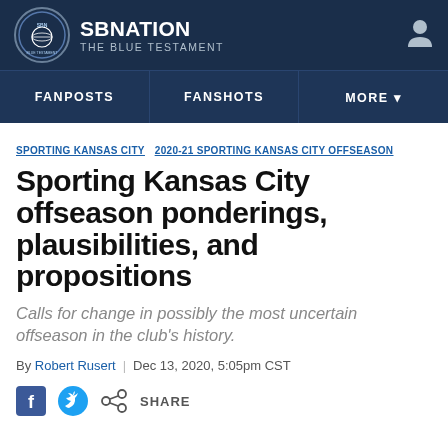SB NATION — THE BLUE TESTAMENT
FANPOSTS | FANSHOTS | MORE
SPORTING KANSAS CITY   2020-21 SPORTING KANSAS CITY OFFSEASON
Sporting Kansas City offseason ponderings, plausibilities, and propositions
Calls for change in possibly the most uncertain offseason in the club's history.
By Robert Rusert | Dec 13, 2020, 5:05pm CST
SHARE